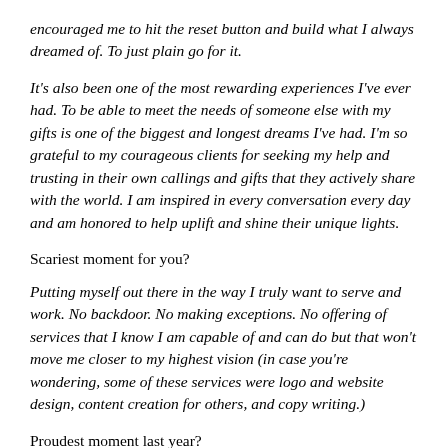encouraged me to hit the reset button and build what I always dreamed of. To just plain go for it.
It's also been one of the most rewarding experiences I've ever had. To be able to meet the needs of someone else with my gifts is one of the biggest and longest dreams I've had. I'm so grateful to my courageous clients for seeking my help and trusting in their own callings and gifts that they actively share with the world. I am inspired in every conversation every day and am honored to help uplift and shine their unique lights.
Scariest moment for you?
Putting myself out there in the way I truly want to serve and work. No backdoor. No making exceptions. No offering of services that I know I am capable of and can do but that won't move me closer to my highest vision (in case you're wondering, some of these services were logo and website design, content creation for others, and copy writing.)
Proudest moment last year?
Choosing to be consciously sober! I say that with an